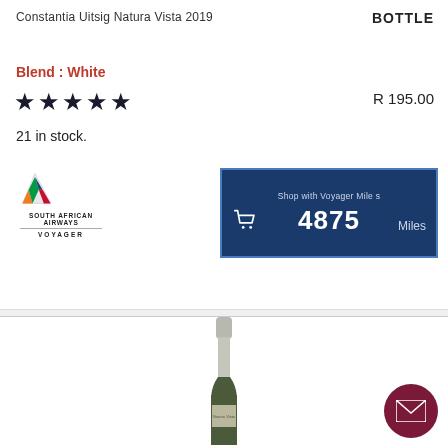Constantia Uitsig Natura Vista 2019
BOTTLE
Blend : White
★★★★★
R 195.00
21 in stock.
[Figure (logo): South African Airways Voyager logo with tail fin graphic]
[Figure (infographic): Shop with Voyager Miles panel showing 4875 Miles with cart icon]
[Figure (photo): Bottom portion of a wine bottle with silver capsule and label]
[Figure (other): Dark red circular email/contact button with envelope icon]